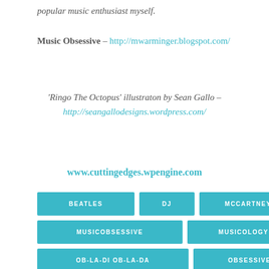popular music enthusiast myself.
Music Obsessive – http://mwarminger.blogspot.com/
'Ringo The Octopus' illustraton by Sean Gallo – http://seangallodesigns.wordpress.com/
www.cuttingedges.wpengine.com
BEATLES
DJ
MCCARTNEY
MUSICOBSESSIVE
MUSICOLOGY
OB-LA-DI OB-LA-DA
OBSESSIVE